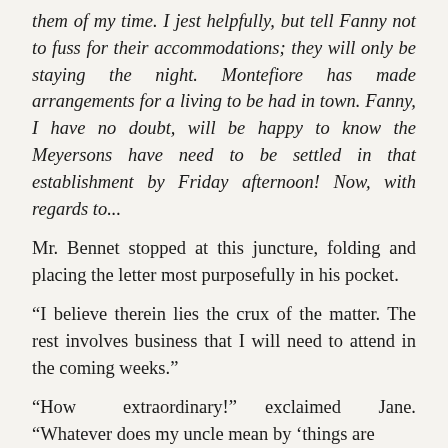them of my time. I jest helpfully, but tell Fanny not to fuss for their accommodations; they will only be staying the night. Montefiore has made arrangements for a living to be had in town. Fanny, I have no doubt, will be happy to know the Meyersons have need to be settled in that establishment by Friday afternoon! Now, with regards to...
Mr. Bennet stopped at this juncture, folding and placing the letter most purposefully in his pocket.
“I believe therein lies the crux of the matter. The rest involves business that I will need to attend in the coming weeks.”
“How extraordinary!” exclaimed Jane. “Whatever does my uncle mean by ‘things are